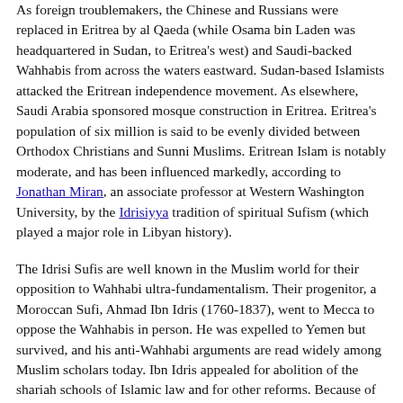As foreign troublemakers, the Chinese and Russians were replaced in Eritrea by al Qaeda (while Osama bin Laden was headquartered in Sudan, to Eritrea's west) and Saudi-backed Wahhabis from across the waters eastward. Sudan-based Islamists attacked the Eritrean independence movement. As elsewhere, Saudi Arabia sponsored mosque construction in Eritrea. Eritrea's population of six million is said to be evenly divided between Orthodox Christians and Sunni Muslims. Eritrean Islam is notably moderate, and has been influenced markedly, according to Jonathan Miran, an associate professor at Western Washington University, by the Idrisiyya tradition of spiritual Sufism (which played a major role in Libyan history).
The Idrisi Sufis are well known in the Muslim world for their opposition to Wahhabi ultra-fundamentalism. Their progenitor, a Moroccan Sufi, Ahmad Ibn Idris (1760-1837), went to Mecca to oppose the Wahhabis in person. He was expelled to Yemen but survived, and his anti-Wahhabi arguments are read widely among Muslim scholars today. Ibn Idris appealed for abolition of the shariah schools of Islamic law and for other reforms. Because of Sufi influence, jihadism has been weak in Eritrea—Miran describes two small Eritrean Wahhabi groups, the Eritrean Islamic Reform Movement and the Eritrean Islamic Salvation Movement, which call for the overthrow of the current regime.
Yet Eritrea's position is badly compromised by the Somali